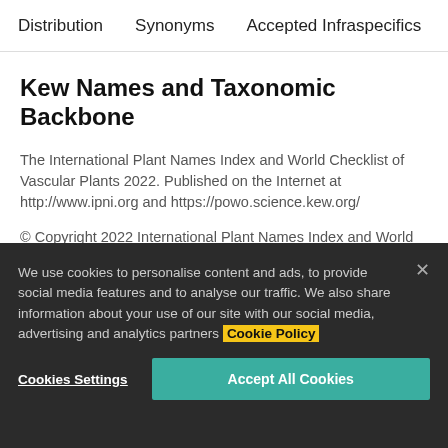Distribution   Synonyms   Accepted Infraspecifics   Pu
Kew Names and Taxonomic Backbone
The International Plant Names Index and World Checklist of Vascular Plants 2022. Published on the Internet at http://www.ipni.org and https://powo.science.kew.org/
© Copyright 2022 International Plant Names Index and World Checklist of Vascular Plants. http://creativecommons.org/licenses/by/3.0
We use cookies to personalise content and ads, to provide social media features and to analyse our traffic. We also share information about your use of our site with our social media, advertising and analytics partners Cookie Policy
Cookies Settings   Accept All Cookies